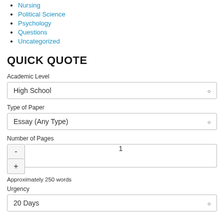Nursing
Political Science
Psychology
Questions
Uncategorized
QUICK QUOTE
Academic Level
High School
Type of Paper
Essay (Any Type)
Number of Pages
1
Approximately 250 words
Urgency
20 Days